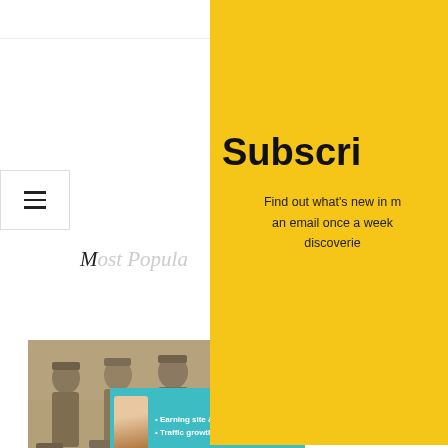[Figure (screenshot): Subscribe overlay popup on a genealogy/history website. Yellow background with large bold 'Subscri' heading (cut off at right edge), subtitle text 'Find out what’s new in m... an email once a week... discoverie...', First Name and Last name input fields, and a partial orange/gold button.]
[Figure (photo): Black and white historical photograph of WWI soldiers, eight men in British military uniforms posed in two rows against a brick wall, France, May 1917.]
World War I: May, 1917, France
Earning site & soci
Traffic growth